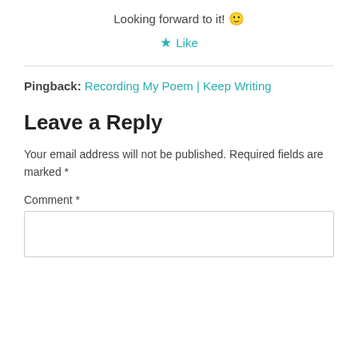Looking forward to it! 🙂
★ Like
Pingback: Recording My Poem | Keep Writing
Leave a Reply
Your email address will not be published. Required fields are marked *
Comment *